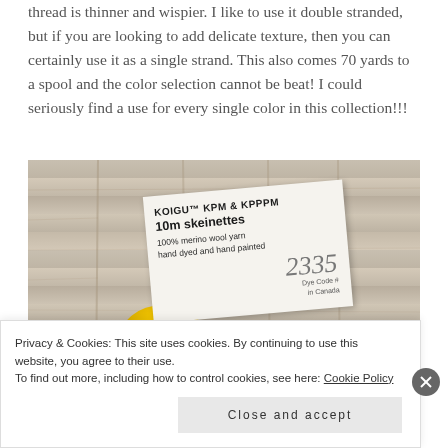thread is thinner and wispier. I like to use it double stranded, but if you are looking to add delicate texture, then you can certainly use it as a single strand. This also comes 70 yards to a spool and the color selection cannot be beat! I could seriously find a use for every single color in this collection!!!
[Figure (photo): Photo of a KOIGU KPM & KPPPM 10m skeinettes label card showing '100% merino wool yarn, hand dyed and hand painted, Dye Code # 2335, made in Canada', with yellow and red yarn skeins against a wooden plank background.]
Privacy & Cookies: This site uses cookies. By continuing to use this website, you agree to their use.
To find out more, including how to control cookies, see here: Cookie Policy
Close and accept